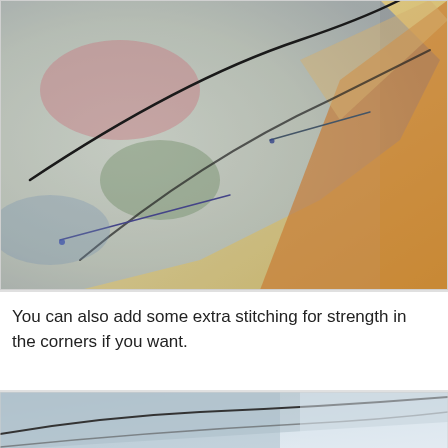[Figure (photo): Close-up macro photo of a corner of a fabric piece pinned to a surface. The fabric shows colorful painted areas (pink, green, orange, blue) with needles/pins stuck through it and a black stitching line following the curved corner edge. The background is a warm cream/beige surface.]
You can also add some extra stitching for strength in the corners if you want.
[Figure (photo): Close-up photo of a similar fabric corner showing stitching lines on a light blue/grey painted fabric against a blurred light background, partially cropped at the bottom of the page.]